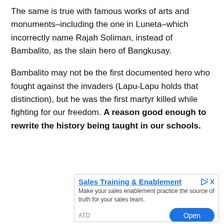The same is true with famous works of arts and monuments–including the one in Luneta–which incorrectly name Rajah Soliman, instead of Bambalito, as the slain hero of Bangkusay.
Bambalito may not be the first documented hero who fought against the invaders (Lapu-Lapu holds that distinction), but he was the first martyr killed while fighting for our freedom. A reason good enough to rewrite the history being taught in our schools.
[Figure (other): Advertisement banner for 'Sales Training & Enablement' by ATD with an Open button]